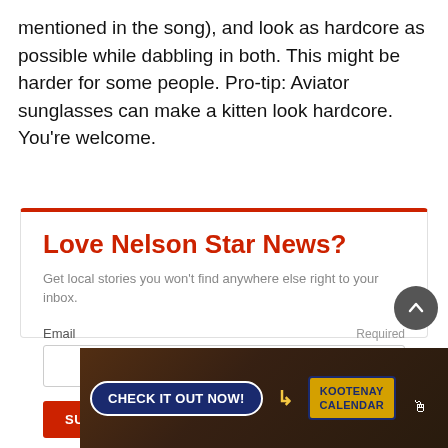mentioned in the song), and look as hardcore as possible while dabbling in both. This might be harder for some people. Pro-tip: Aviator sunglasses can make a kitten look hardcore. You're welcome.
Love Nelson Star News?
Get local stories you won't find anywhere else right to your inbox.
Email  Required
SUBSCRIBE FOR FREE
[Figure (infographic): Advertisement banner for Kootenay Calendar with crowd in background, 'CHECK IT OUT NOW!' button and 'KOOTENAY CALENDAR' badge]